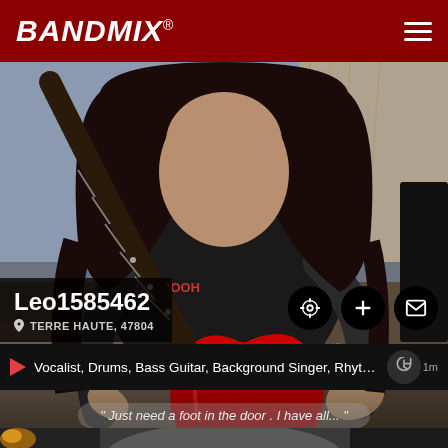BANDMIX®
[Figure (photo): Person with long dark hair playing a red electric guitar, wearing a black hoodie with text, sitting indoors. Dark metal band style photo.]
Leo1585462
TERRE HAUTE, 47804
Vocalist, Drums, Bass Guitar, Background Singer, Rhythm Guitar, L...
" Just need a foot in the door . I have all... "
[Figure (photo): Close-up partial face of a person, dark moody photo, only forehead, ear and side of face visible with dark background.]